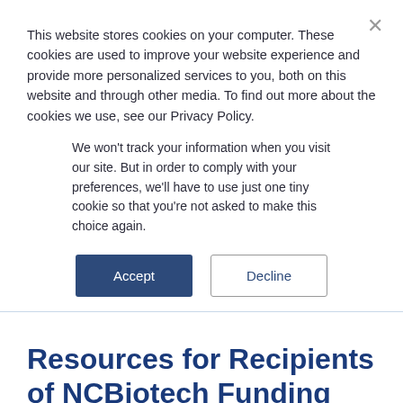This website stores cookies on your computer. These cookies are used to improve your website experience and provide more personalized services to you, both on this website and through other media. To find out more about the cookies we use, see our Privacy Policy.
We won't track your information when you visit our site. But in order to comply with your preferences, we'll have to use just one tiny cookie so that you're not asked to make this choice again.
Accept   Decline
Resources for Recipients of NCBiotech Funding
The post-award management of NCBiotech grants and loans is administered by the staff of the